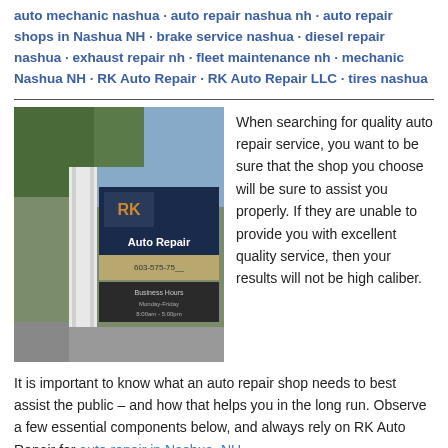auto mechanic nashua · auto repair nashua nh · auto repair shops in Nashua NH · brake service nashua · diesel repair nashua · exhaust repair nh · fleet maintenance nh · mechanic Nashua NH · RK Auto Repair · RK Auto Repair LLC · tires nashua
[Figure (photo): Photo of RK Auto Repair sign outside a building, showing 'RK Auto Repair' sign with business hours]
When searching for quality auto repair service, you want to be sure that the shop you choose will be sure to assist you properly. If they are unable to provide you with excellent quality service, then your results will not be high caliber.
It is important to know what an auto repair shop needs to best assist the public – and how that helps you in the long run. Observe a few essential components below, and always rely on RK Auto Repair for auto repair in Nashua, NH.
A Knowledgable Staff
Having a staff that is experienced, friendly, and knowledgable is key. Customers do not want to deal with any staff members that are potentially hostile or do not know what they are doing with the